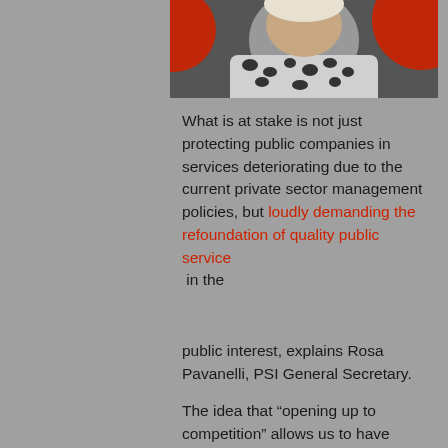[Figure (photo): Partial photo of a person wearing a patterned black and white top, with red circular graphic elements visible in the background (top of page, cropped).]
What is at stake is not just protecting public companies in services deteriorating due to the current private sector management policies, but loudly demanding the refoundation of quality public service  in the
public interest, explains Rosa Pavanelli, PSI General Secretary.
The idea that “opening up to competition” allows us to have quality service costing less is false, as shown by the private